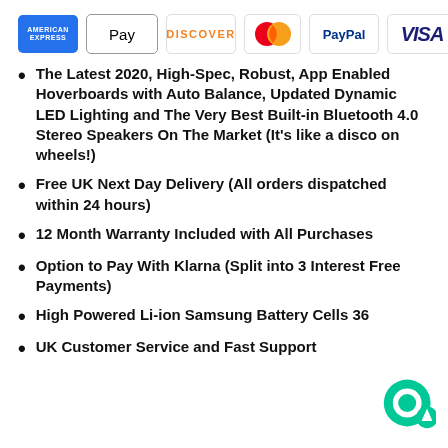[Figure (logo): Row of payment method logos: American Express, Apple Pay, Discover, Mastercard, PayPal, Visa]
The Latest 2020, High-Spec, Robust, App Enabled Hoverboards with Auto Balance, Updated Dynamic LED Lighting and The Very Best Built-in Bluetooth 4.0 Stereo Speakers On The Market (It's like a disco on wheels!)
Free UK Next Day Delivery (All orders dispatched within 24 hours)
12 Month Warranty Included with All Purchases
Option to Pay With Klarna (Split into 3 Interest Free Payments)
High Powered Li-ion Samsung Battery Cells 36
UK Customer Service and Fast Support